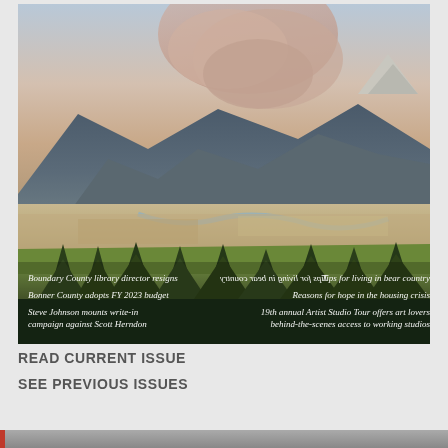[Figure (photo): Aerial landscape photograph of a valley with fields, trees, a river, and mountains in the background. A large smoke plume rises from behind the mountain ridge, suggesting a wildfire. In the lower portion of the image, white italic text overlays list news headlines about Boundary County library director resignation, Bonner County FY 2023 budget, Steve Johnson write-in campaign, tips for living in bear country, reasons for hope in the housing crisis, and 19th annual Artist Studio Tour.]
READ CURRENT ISSUE
SEE PREVIOUS ISSUES